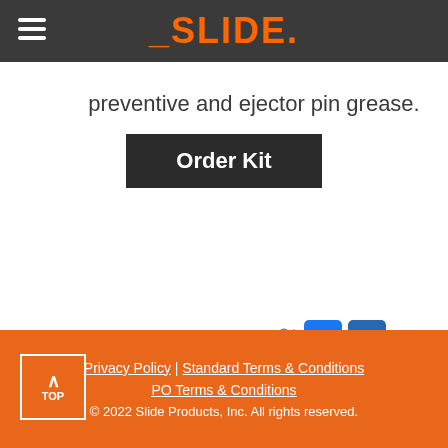SLIDE
preventive and ejector pin grease.
Order Kit
Follow Slide Products
Privacy Policy | Standard Terms & Conditions
PO Terms & Conditions
© 2022 Slide Products, Inc. All rights reserved.